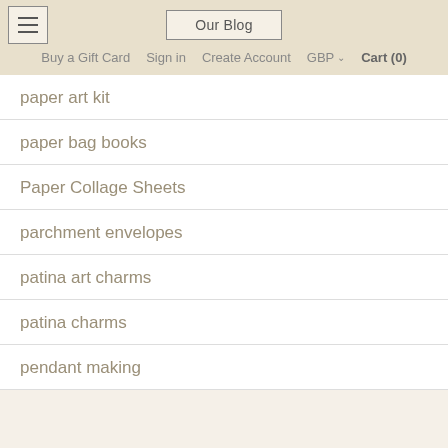Our Blog | Buy a Gift Card  Sign in  Create Account  GBP  Cart (0)
paper art kit
paper bag books
Paper Collage Sheets
parchment envelopes
patina art charms
patina charms
pendant making